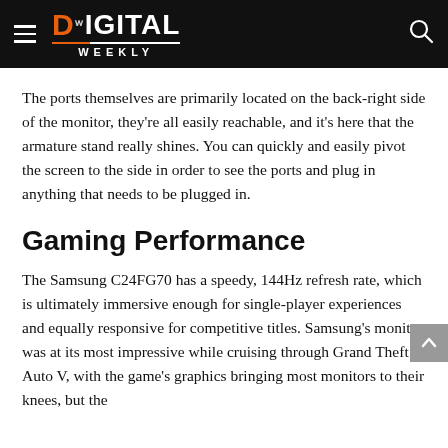Digital Weekly
The ports themselves are primarily located on the back-right side of the monitor, they're all easily reachable, and it's here that the armature stand really shines. You can quickly and easily pivot the screen to the side in order to see the ports and plug in anything that needs to be plugged in.
Gaming Performance
The Samsung C24FG70 has a speedy, 144Hz refresh rate, which is ultimately immersive enough for single-player experiences and equally responsive for competitive titles. Samsung's monitor was at its most impressive while cruising through Grand Theft Auto V, with the game's graphics bringing most monitors to their knees, but the